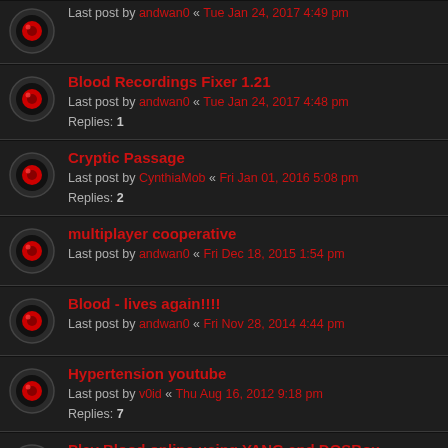Last post by andwan0 « Tue Jan 24, 2017 4:49 pm
Blood Recordings Fixer 1.21 — Last post by andwan0 « Tue Jan 24, 2017 4:48 pm — Replies: 1
Cryptic Passage — Last post by CynthiaMob « Fri Jan 01, 2016 5:08 pm — Replies: 2
multiplayer cooperative — Last post by andwan0 « Fri Dec 18, 2015 1:54 pm
Blood - lives again!!!! — Last post by andwan0 « Fri Nov 28, 2014 4:44 pm
Hypertension youtube — Last post by v0id « Thu Aug 16, 2012 9:18 pm — Replies: 7
Play Blood online using YANG and DOSBox — Last post by Kresnorf « Sat Jun 16, 2012 2:21 am — Replies: 6
Bloodbath hamachi server — Last post by ocpjr « Sun Mar 20, 2011 9:53 pm — Replies: 1